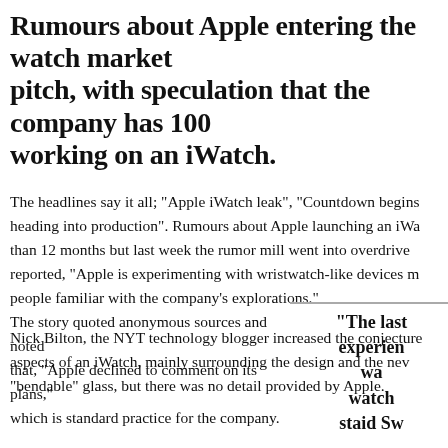Rumours about Apple entering the watch market pitch, with speculation that the company has 100 working on an iWatch.
The headlines say it all; "Apple iWatch leak", "Countdown begins heading into production". Rumours about Apple launching an iWatch than 12 months but last week the rumor mill went into overdrive reported, "Apple is experimenting with wristwatch-like devices m people familiar with the company's explorations."
Nick Bilton, the NYT technology blogger increased the conjecture aspects of an iWatch, mainly surrounding the design and the new "bendable" glass, but there was no detail provided by Apple.
The story quoted anonymous sources and noted that, "Apple declined to comment on its plans," which is standard practice for the company.
However, a few days later Bloomberg weighed into the story by reporting, "Apple has a team of about 100 product designers working on a
"The last experience wa watch staid Sw